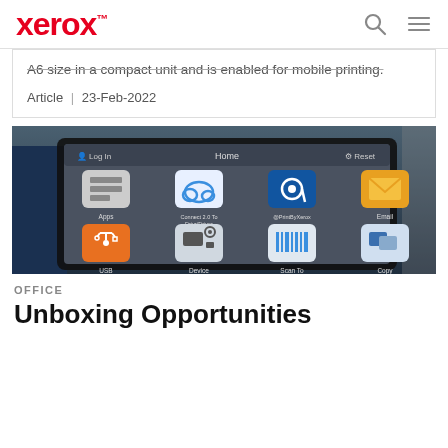xerox™
A6 size in a compact unit and is enabled for mobile printing.
Article | 23-Feb-2022
[Figure (photo): Xerox printer touchscreen display showing home screen with app icons including App, Connect 2.0 To Drivr/Driver, @PrintByXerox, Email, USB, Device, Scan To, Copy, and other app icons on a dark gray interface. The printer body is dark navy blue.]
OFFICE
Unboxing Opportunities